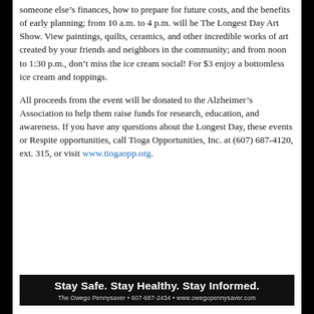someone else's finances, how to prepare for future costs, and the benefits of early planning; from 10 a.m. to 4 p.m. will be The Longest Day Art Show. View paintings, quilts, ceramics, and other incredible works of art created by your friends and neighbors in the community; and from noon to 1:30 p.m., don't miss the ice cream social! For $3 enjoy a bottomless ice cream and toppings.
All proceeds from the event will be donated to the Alzheimer's Association to help them raise funds for research, education, and awareness. If you have any questions about the Longest Day, these events or Respite opportunities, call Tioga Opportunities, Inc. at (607) 687-4120, ext. 315, or visit www.tiogaopp.org.
[Figure (other): Black banner advertisement reading 'Stay Safe. Stay Healthy. Stay Informed.' with subtitle 'The Owego Pennysaver • 607-687-2434 • www.owegopennysaver.com']